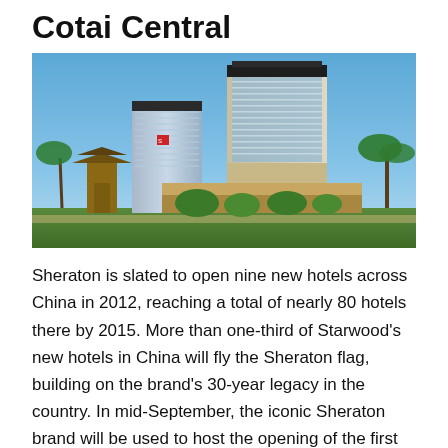Cotai Central
[Figure (photo): Architectural rendering of Sheraton hotel towers at Cotai Central, Macau — multiple high-rise glass and stone towers with palm trees and landscaped grounds under a blue sky.]
Sheraton is slated to open nine new hotels across China in 2012, reaching a total of nearly 80 hotels there by 2015. More than one-third of Starwood's new hotels in China will fly the Sheraton flag, building on the brand's 30-year legacy in the country. In mid-September, the iconic Sheraton brand will be used to host the opening of the first